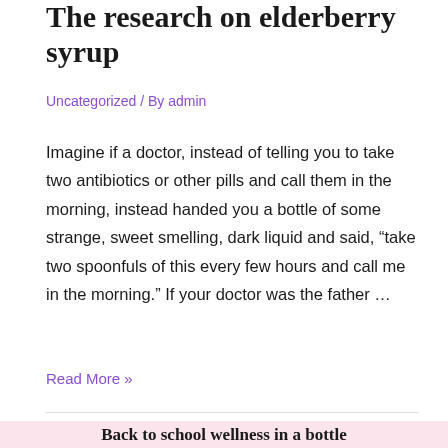The research on elderberry syrup
Uncategorized / By admin
Imagine if a doctor, instead of telling you to take two antibiotics or other pills and call them in the morning, instead handed you a bottle of some strange, sweet smelling, dark liquid and said, “take two spoonfuls of this every few hours and call me in the morning.” If your doctor was the father …
Read More »
Back to school wellness in a bottle